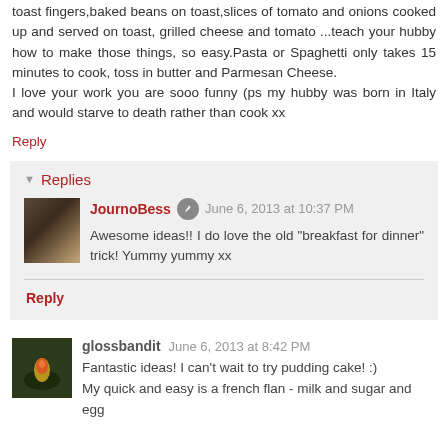toast fingers,baked beans on toast,slices of tomato and onions cooked up and served on toast, grilled cheese and tomato ...teach your hubby how to make those things, so easy.Pasta or Spaghetti only takes 15 minutes to cook, toss in butter and Parmesan Cheese.
I love your work you are sooo funny (ps my hubby was born in Italy and would starve to death rather than cook xx
Reply
Replies
JournoBess  June 6, 2013 at 10:37 PM
Awesome ideas!! I do love the old "breakfast for dinner" trick! Yummy yummy xx
Reply
glossbandit  June 6, 2013 at 8:42 PM
Fantastic ideas! I can't wait to try pudding cake! :)
My quick and easy is a french flan - milk and sugar and egg